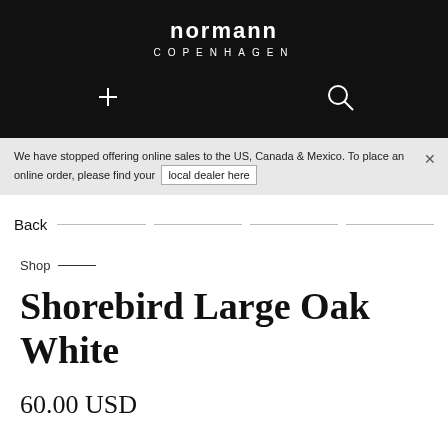normann
COPENHAGEN
We have stopped offering online sales to the US, Canada & Mexico. To place an online order, please find your local dealer here
Back
Shop
Shorebird Large Oak White
60.00 USD